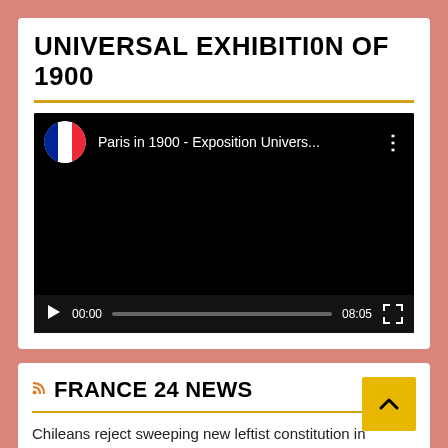UNIVERSAL EXHIBITION OF 1900
[Figure (screenshot): YouTube video player showing 'Paris in 1900 - Exposition Univers...' with a French flag thumbnail icon, black video area, play button, timestamp 00:00, progress bar, duration 08:05, and fullscreen button]
FRANCE 24 NEWS
Chileans reject sweeping new leftist constitution in referendum